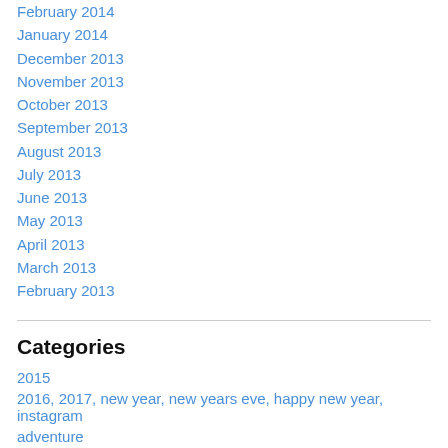February 2014
January 2014
December 2013
November 2013
October 2013
September 2013
August 2013
July 2013
June 2013
May 2013
April 2013
March 2013
February 2013
Categories
2015
2016, 2017, new year, new years eve, happy new year, instagram
adventure
austria